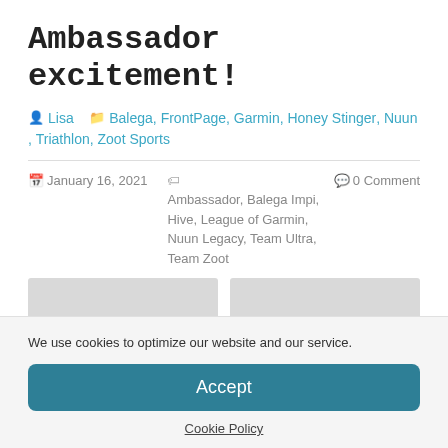Ambassador excitement!
Lisa   Balega, FrontPage, Garmin, Honey Stinger, Nuun, Triathlon, Zoot Sports
January 16, 2021   Ambassador, Balega Impi, Hive, League of Garmin, Nuun Legacy, Team Ultra, Team Zoot   0 Comment
[Figure (photo): Two placeholder image boxes side by side]
We use cookies to optimize our website and our service.
Accept
Cookie Policy